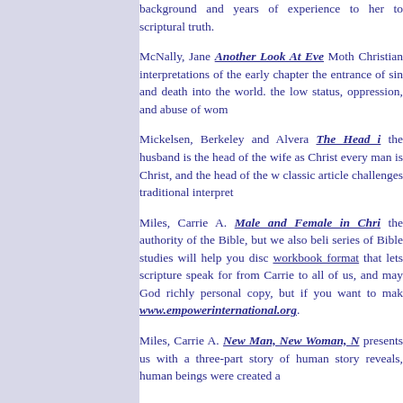background and years of experience to her to scriptural truth.
McNally, Jane Another Look At Eve Moth... Christian interpretations of the early chapter... the entrance of sin and death into the world. ... the low status, oppression, and abuse of wom...
Mickelsen, Berkeley and Alvera The Head i... the husband is the head of the wife as Christ... every man is Christ, and the head of the w... classic article challenges traditional interpret...
Miles, Carrie A. Male and Female in Chri... the authority of the Bible, but we also beli... series of Bible studies will help you disc... workbook format that lets scripture speak fo... from Carrie to all of us, and may God richly... personal copy, but if you want to mak... www.empowerinternational.org.
Miles, Carrie A. New Man, New Woman, N... presents us with a three-part story of human... story reveals, human beings were created a...